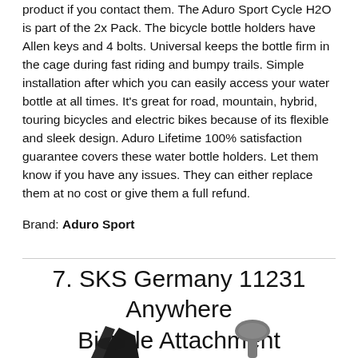product if you contact them. The Aduro Sport Cycle H2O is part of the 2x Pack. The bicycle bottle holders have Allen keys and 4 bolts. Universal keeps the bottle firm in the cage during fast riding and bumpy trails. Simple installation after which you can easily access your water bottle at all times. It's great for road, mountain, hybrid, touring bicycles and electric bikes because of its flexible and sleek design. Aduro Lifetime 100% satisfaction guarantee covers these water bottle holders. Let them know if you have any issues. They can either replace them at no cost or give them a full refund.
Brand: Aduro Sport
7. SKS Germany 11231 Anywhere Bicycle Attachment
[Figure (photo): Two bicycle attachment product photos shown at bottom of page, partially cropped. Left item appears to be a dark bicycle clamp or bracket, right item appears to be a grey/dark paddle-shaped attachment piece.]